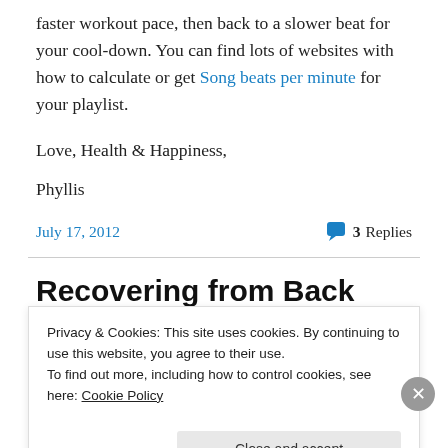faster workout pace, then back to a slower beat for your cool-down. You can find lots of websites with how to calculate or get Song beats per minute for your playlist.
Love, Health & Happiness,
Phyllis
July 17, 2012   💬 3 Replies
Recovering from Back Pain
Privacy & Cookies: This site uses cookies. By continuing to use this website, you agree to their use.
To find out more, including how to control cookies, see here: Cookie Policy